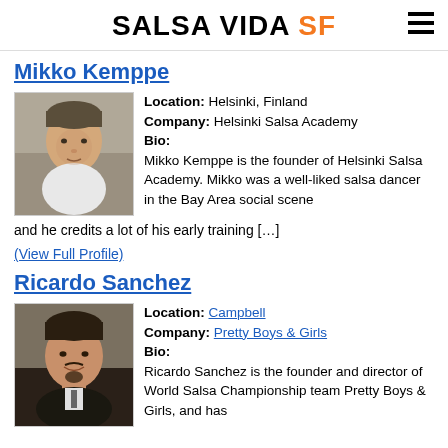SALSA VIDA SF
Mikko Kemppe
[Figure (photo): Portrait photo of Mikko Kemppe, a man with short hair wearing a white shirt, photographed outdoors.]
Location: Helsinki, Finland
Company: Helsinki Salsa Academy
Bio:
Mikko Kemppe is the founder of Helsinki Salsa Academy. Mikko was a well-liked salsa dancer in the Bay Area social scene and he credits a lot of his early training […]
(View Full Profile)
Ricardo Sanchez
[Figure (photo): Portrait photo of Ricardo Sanchez, a man with a goatee wearing a dark suit, smiling.]
Location: Campbell
Company: Pretty Boys & Girls
Bio:
Ricardo Sanchez is the founder and director of World Salsa Championship team Pretty Boys & Girls, and has